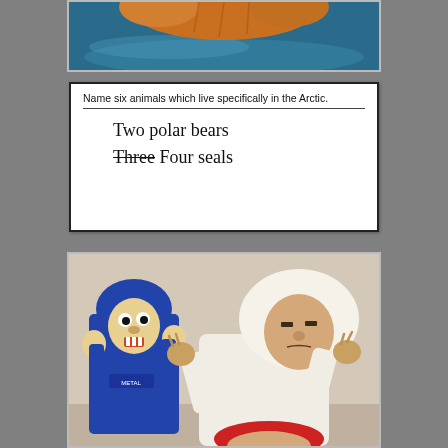[Figure (photo): Partial top image showing what appears to be an orange animal (lion or similar) against a teal/blue background, only bottom portion visible]
[Figure (illustration): Exam answer sheet. Question: 'Name six animals which live specifically in the Arctic.' Handwritten answer: 'Two polar bears Three (crossed out) Four seals']
[Figure (photo): Photo of a man in white papal robes with arms raised in dramatic pose, next to a cartoon character (Beavis from Beavis and Butt-Head wearing blue hoodie), and a red cardinal hat visible in foreground]